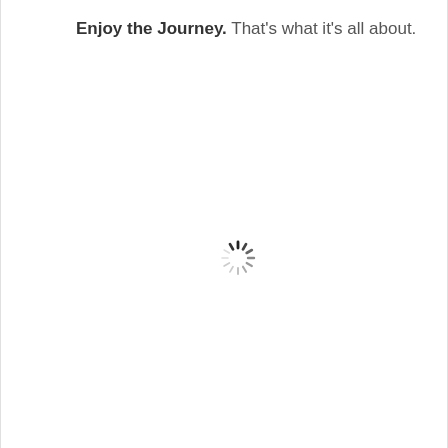Enjoy the journey. That's what it's all about.
[Figure (other): A loading spinner icon — circular arrangement of short radial strokes fading from dark to light, indicating content is loading.]